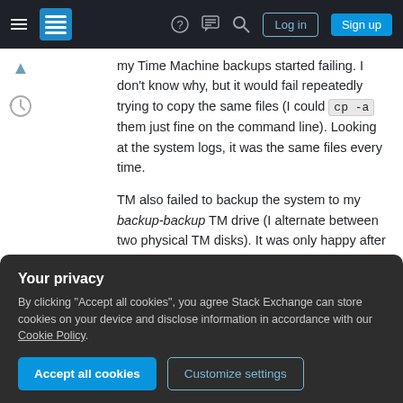Stack Exchange navigation bar with hamburger menu, logo, help, chat, search icons, Log in and Sign up buttons
my Time Machine backups started failing. I don't know why, but it would fail repeatedly trying to copy the same files (I could cp -a them just fine on the command line). Looking at the system logs, it was the same files every time.
TM also failed to backup the system to my backup-backup TM drive (I alternate between two physical TM disks). It was only happy after I formatted one of the drives and started from scratch.
Here's what I did in detail:
Your privacy
By clicking "Accept all cookies", you agree Stack Exchange can store cookies on your device and disclose information in accordance with our Cookie Policy.
Accept all cookies   Customize settings
newly-formatted TM drive.